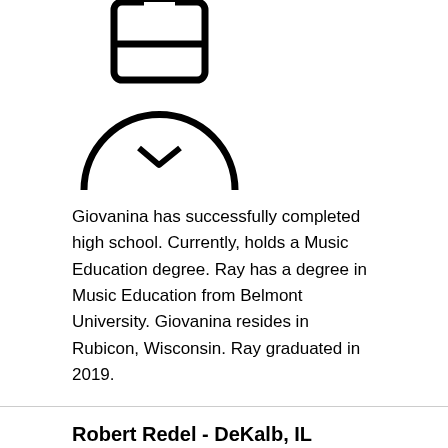[Figure (illustration): Generic person/profile icon outline in black on white background]
Giovanina has successfully completed high school. Currently, holds a Music Education degree. Ray has a degree in Music Education from Belmont University. Giovanina resides in Rubicon, Wisconsin. Ray graduated in 2019.
Robert Redel - DeKalb, IL
[Figure (illustration): Generic person/profile icon outline in black on white background]
Robert hometown is DeKalb, Illinois, where Robert Redel was educated through high school. Robert Redel attended Belmont University after graduated. In 2019, Robert